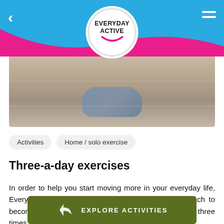EVERYDAY ACTIVE
[Figure (photo): Close-up photo of person's feet in grey sneakers on a tiled floor hallway]
Activities
Home / solo exercise
Three-a-day exercises
In order to help you start moving more in your everyday life, Everyday Active has created the "three-a-day" approach to becoming more active. If you can start moving more just three times a day, for a couple of minutes, you'll start to form the habit of being active, and motivate your
EXPLORE ACTIVITIES